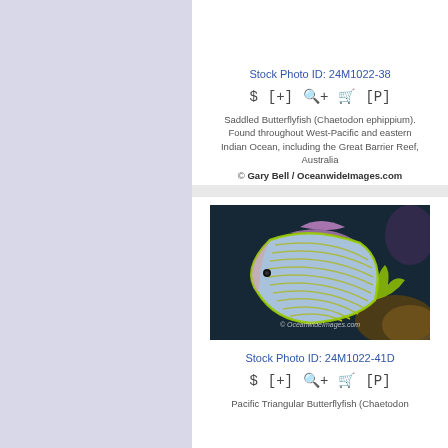Stock Photo ID: 24M1022-38
[Figure (other): Icon row with dollar sign, [+], zoom, cart, [P] symbols]
Saddled Butterflyfish (Chaetodon ephippium). Found throughout West-Pacific and eastern Indian Ocean, including the Great Barrier Reef, Australia
© Gary Bell / OceanwideImages.com
[Figure (photo): Underwater photo of a Pacific Triangular Butterflyfish with yellow and blue chevron stripe pattern against dark reef background. Watermark: © OceanwideImages.com]
Stock Photo ID: 24M1022-41D
[Figure (other): Icon row with dollar sign, [+], zoom, cart, [P] symbols]
Pacific Triangular Butterflyfish (Chaetodon